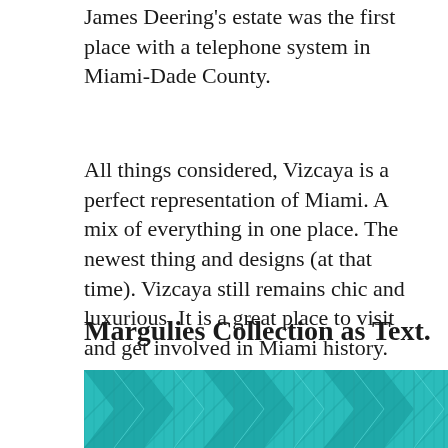James Deering's estate was the first place with a telephone system in Miami-Dade County.
All things considered, Vizcaya is a perfect representation of Miami. A mix of everything in one place. The newest thing and designs (at that time). Vizcaya still remains chic and luxurious. It is a great place to visit and get involved in Miami history.
Margulies Collection as Text.
[Figure (photo): Teal/turquoise geometric pattern with repeating chevron or arrow shapes creating a textured graphic design.]